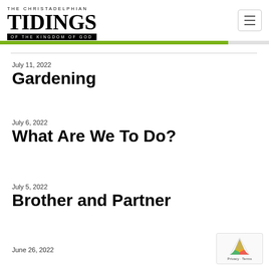THE CHRISTADELPHIAN TIDINGS OF THE KINGDOM OF GOD
July 11, 2022
Gardening
July 6, 2022
What Are We To Do?
July 5, 2022
Brother and Partner
June 26, 2022